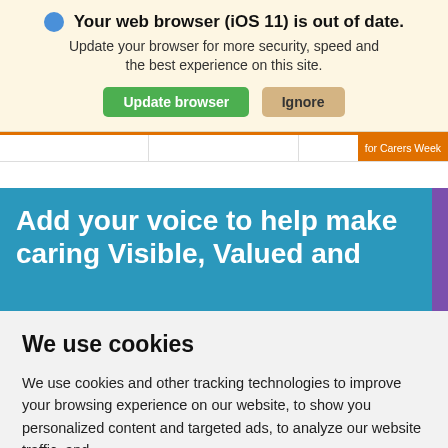Your web browser (iOS 11) is out of date. Update your browser for more security, speed and the best experience on this site.
Update browser  Ignore
for Carers Week
Add your voice to help make caring Visible, Valued and
We use cookies
We use cookies and other tracking technologies to improve your browsing experience on our website, to show you personalized content and targeted ads, to analyze our website traffic, and